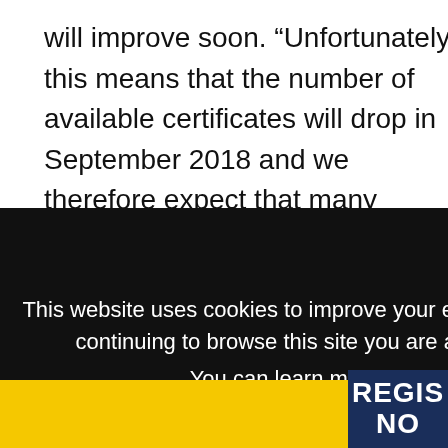will improve soon. “Unfortunately this means that the number of available certificates will drop in September 2018 and we therefore expect that many employers and applicants may still struggle to obtain an unrestricted certificate unless the government decides to increase the annual quota.”
This website uses cookies to improve your experience and for ads personalisation. By continuing to browse this site you are agreeing to our use of these cookies. You can learn more about the cookies we use here.
OK